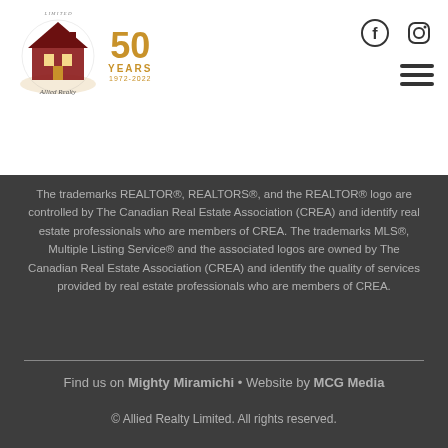[Figure (logo): Allied Realty Limited logo with 50 Years badge (1972-2022)]
[Figure (logo): Facebook and Instagram social media icons in header]
The trademarks REALTOR®, REALTORS®, and the REALTOR® logo are controlled by The Canadian Real Estate Association (CREA) and identify real estate professionals who are members of CREA. The trademarks MLS®, Multiple Listing Service® and the associated logos are owned by The Canadian Real Estate Association (CREA) and identify the quality of services provided by real estate professionals who are members of CREA.
Find us on Mighty Miramichi • Website by MCG Media
© Allied Realty Limited. All rights reserved.